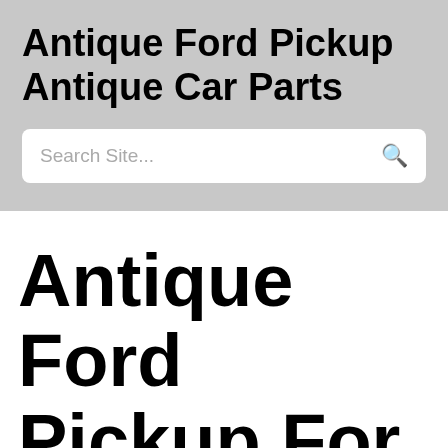Antique Ford Pickup Antique Car Parts
Search Site...
Antique Ford Pickup For